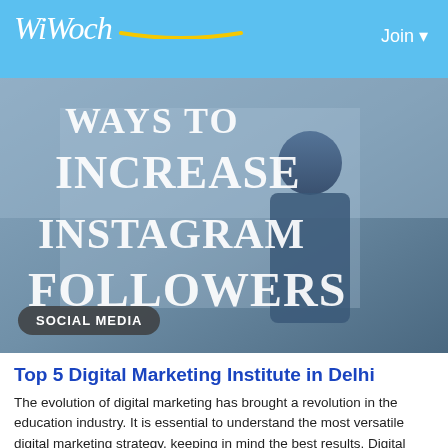WiWoch  Join ▾
[Figure (photo): Hero image showing text 'WAYS TO INCREASE INSTAGRAM FOLLOWERS' in large white serif font overlaid on a blurred photo of a man on the phone in an office setting. A dark pill badge at the bottom-left reads 'SOCIAL MEDIA'.]
Top 5 Digital Marketing Institute in Delhi
The evolution of digital marketing has brought a revolution in the education industry. It is essential to understand the most versatile digital marketing strategy, keeping in mind the best results. Digital marketing techniques have enhanced the online visibility of businesses. It helps in generating leads and
By WebTek Marketing  🕐 2 years ago  💬 0  👁 762